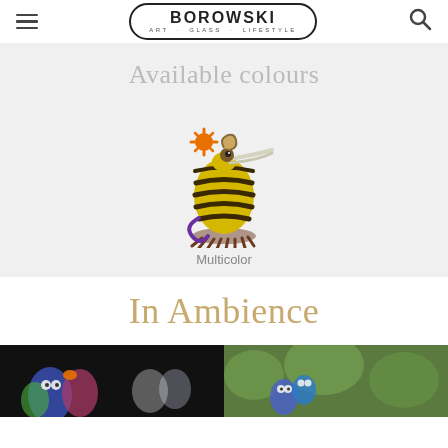BOROWSKI ART · GLASS · LIFESTYLE
Available colours
[Figure (illustration): A decorative glass art bird figurine with yellow and black striped egg-shaped body, orange starburst accent, snail on top, purple tail curl, and brown feathered base]
Multicolor
In Ambience
[Figure (photo): Two photos side by side: left shows colorful glass art figures against dark background; right shows glass art figures in outdoor garden setting]